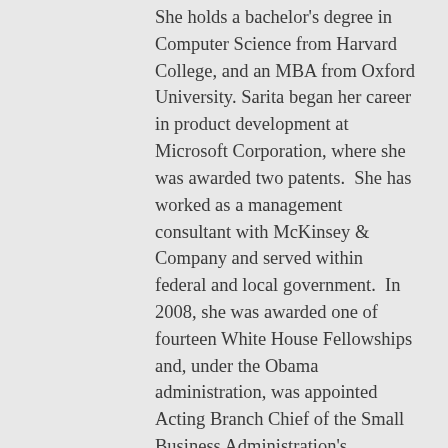She holds a bachelor's degree in Computer Science from Harvard College, and an MBA from Oxford University. Sarita began her career in product development at Microsoft Corporation, where she was awarded two patents.  She has worked as a management consultant with McKinsey & Company and served within federal and local government.  In 2008, she was awarded one of fourteen White House Fellowships and, under the Obama administration, was appointed Acting Branch Chief of the Small Business Administration's domestic Microloan program.
Sarita has written freelance articles about growing up Indian in Indiana for The New York Times.  After winning the 1994 International Science and Engineering Fair, she